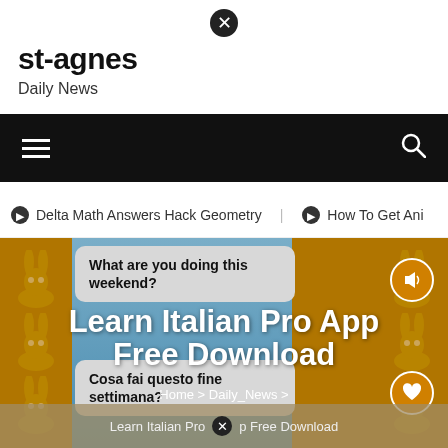[Figure (screenshot): Close (X) button circle at top center of page]
st-agnes
Daily News
[Figure (screenshot): Black navigation bar with hamburger menu icon on left and search icon on right]
Delta Math Answers Hack Geometry   How To Get Ani
[Figure (screenshot): App screenshot showing language learning app with speech bubbles in English and Italian, overlaid with large white bold text 'Learn Italian Pro App Free Download', breadcrumb navigation, and close button]
Learn Italian Pro App Free Download
Home > Daily_News > Learn Italian Pro App Free Download